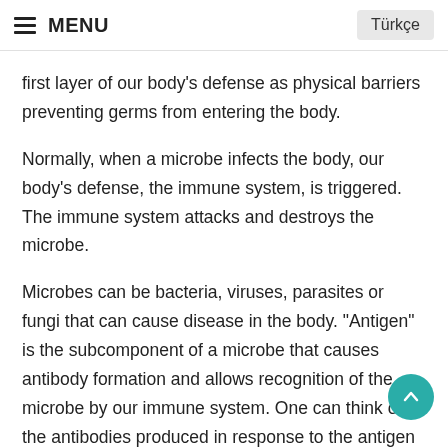MENU | Türkçe
first layer of our body's defense as physical barriers preventing germs from entering the body.
Normally, when a microbe infects the body, our body's defense, the immune system, is triggered. The immune system attacks and destroys the microbe.
Microbes can be bacteria, viruses, parasites or fungi that can cause disease in the body. "Antigen" is the subcomponent of a microbe that causes antibody formation and allows recognition of the microbe by our immune system. One can think of the antibodies produced in response to the antigen of the microbe as soldiers in our body's defense system. Every antibody soldier in our immune system is trained to recognize a specific antigen. When the body encounters a new...